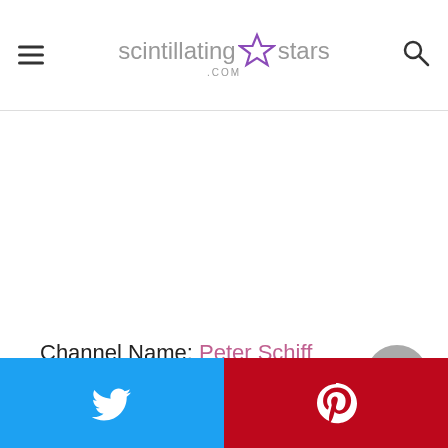scintillating★stars.com
Channel Name: Peter Schiff
[Figure (other): Twitter social share button (blue background with white bird icon)]
[Figure (other): Pinterest social share button (red background with white P icon)]